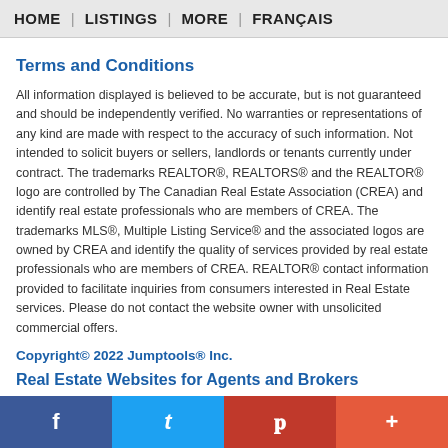HOME | LISTINGS | MORE | FRANÇAIS
Terms and Conditions
All information displayed is believed to be accurate, but is not guaranteed and should be independently verified. No warranties or representations of any kind are made with respect to the accuracy of such information. Not intended to solicit buyers or sellers, landlords or tenants currently under contract. The trademarks REALTOR®, REALTORS® and the REALTOR® logo are controlled by The Canadian Real Estate Association (CREA) and identify real estate professionals who are members of CREA. The trademarks MLS®, Multiple Listing Service® and the associated logos are owned by CREA and identify the quality of services provided by real estate professionals who are members of CREA. REALTOR® contact information provided to facilitate inquiries from consumers interested in Real Estate services. Please do not contact the website owner with unsolicited commercial offers.
Copyright© 2022 Jumptools® Inc.
Real Estate Websites for Agents and Brokers
f  t  p  +